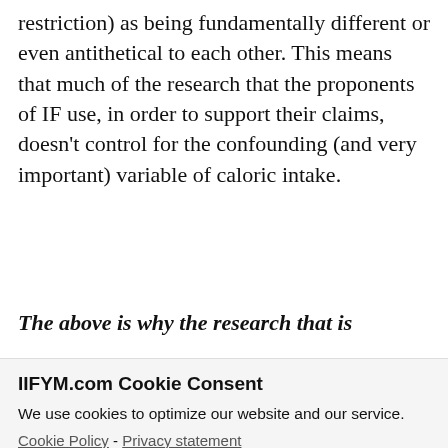restriction) as being fundamentally different or even antithetical to each other. This means that much of the research that the proponents of IF use, in order to support their claims, doesn't control for the confounding (and very important) variable of caloric intake.
The above is why the research that is
IIFYM.com Cookie Consent
We use cookies to optimize our website and our service.
Cookie Policy - Privacy statement
Accept